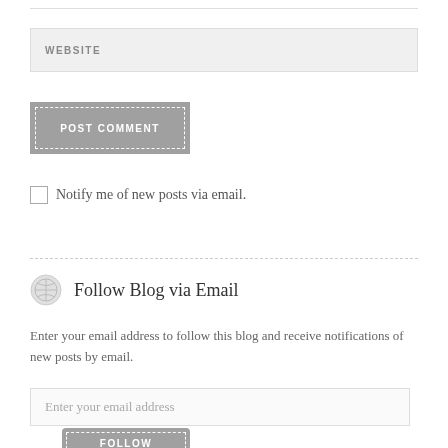WEBSITE
[Figure (screenshot): POST COMMENT button with dashed inner border on gray background]
Notify me of new posts via email.
Follow Blog via Email
Enter your email address to follow this blog and receive notifications of new posts by email.
Enter your email address
FOLLOW